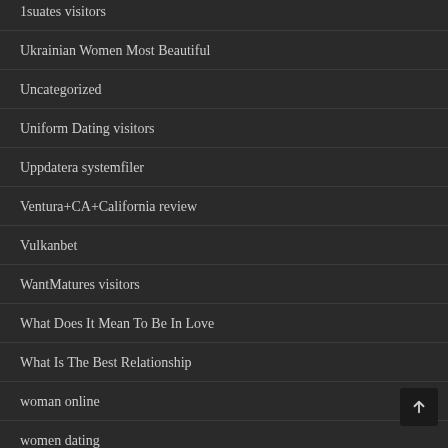1suates visitors
Ukrainian Women Most Beautiful
Uncategorized
Uniform Dating visitors
Uppdatera systemfiler
Ventura+CA+California review
Vulkanbet
WantMatures visitors
What Does It Mean To Be In Love
What Is The Best Relationship
woman online
women dating